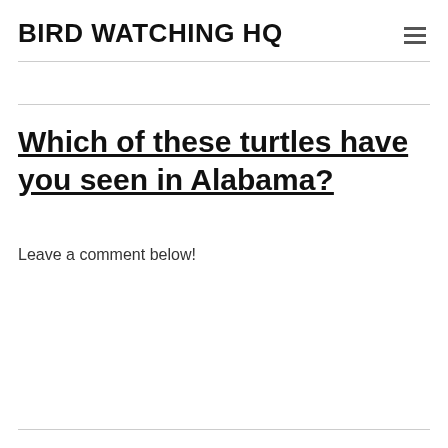BIRD WATCHING HQ
Which of these turtles have you seen in Alabama?
Leave a comment below!